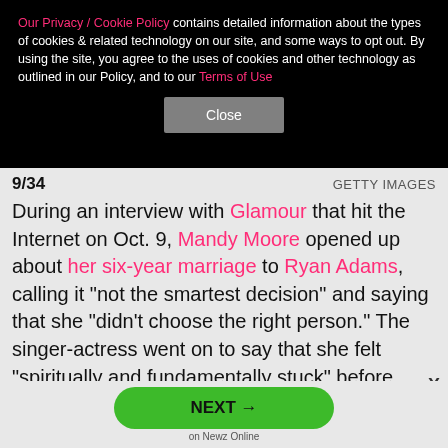Our Privacy / Cookie Policy contains detailed information about the types of cookies & related technology on our site, and some ways to opt out. By using the site, you agree to the uses of cookies and other technology as outlined in our Policy, and to our Terms of Use
Close
9/34
GETTY IMAGES
During an interview with Glamour that hit the Internet on Oct. 9, Mandy Moore opened up about her six-year marriage to Ryan Adams, calling it "not the smartest decision" and saying that she "didn't choose the right person." The singer-actress went on to say that she felt "spiritually and fundamentally stuck" before they divorced. "I don't feel guilty for it. I don't fault myself for it." she said. "When people said, 'I'm sorry,' I was like,
NEXT →
on Newz Online